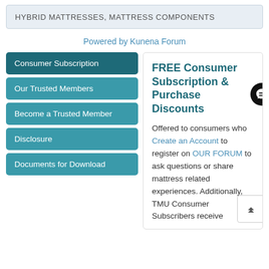HYBRID MATTRESSES, MATTRESS COMPONENTS
Powered by Kunena Forum
Consumer Subscription
Our Trusted Members
Become a Trusted Member
Disclosure
Documents for Download
FREE Consumer Subscription & Purchase Discounts
Offered to consumers who Create an Account to register on OUR FORUM to ask questions or share mattress related experiences. Additionally, TMU Consumer Subscribers receive